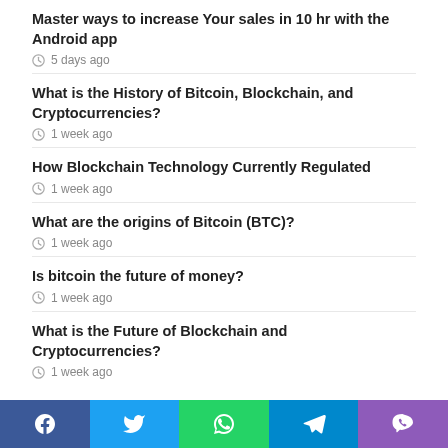Master ways to increase Your sales in 10 hr with the Android app
5 days ago
What is the History of Bitcoin, Blockchain, and Cryptocurrencies?
1 week ago
How Blockchain Technology Currently Regulated
1 week ago
What are the origins of Bitcoin (BTC)?
1 week ago
Is bitcoin the future of money?
1 week ago
What is the Future of Blockchain and Cryptocurrencies?
1 week ago